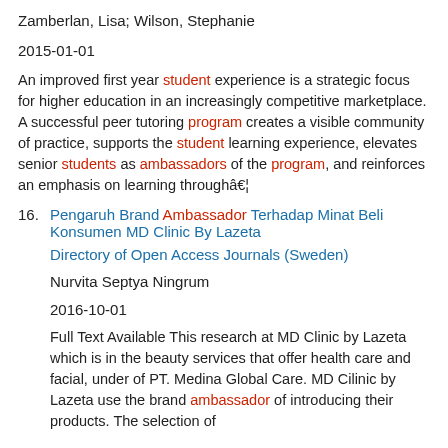Zamberlan, Lisa; Wilson, Stephanie
2015-01-01
An improved first year student experience is a strategic focus for higher education in an increasingly competitive marketplace. A successful peer tutoring program creates a visible community of practice, supports the student learning experience, elevates senior students as ambassadors of the program, and reinforces an emphasis on learning throughâ€¦
16. Pengaruh Brand Ambassador Terhadap Minat Beli Konsumen MD Clinic By Lazeta
Directory of Open Access Journals (Sweden)
Nurvita Septya Ningrum
2016-10-01
Full Text Available This research at MD Clinic by Lazeta which is in the beauty services that offer health care and facial, under of PT. Medina Global Care. MD Cilinic by Lazeta use the brand ambassador of introducing their products. The selection of